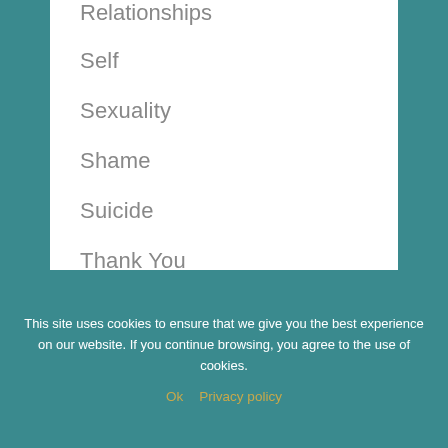Relationships
Self
Sexuality
Shame
Suicide
Thank You
Uncategorized
Unread Letters
Womanhood
This site uses cookies to ensure that we give you the best experience on our website. If you continue browsing, you agree to the use of cookies.
Ok   Privacy policy